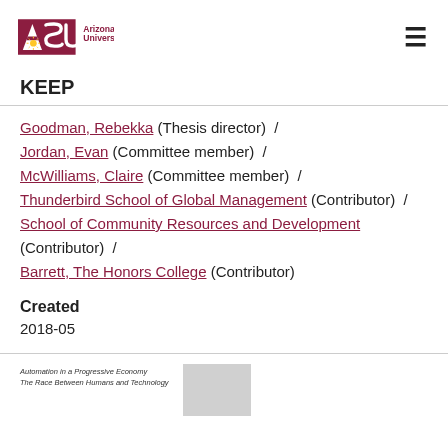[Figure (logo): Arizona State University logo with ASU letters in maroon and gold sunburst, followed by text 'Arizona State University']
KEEP
Goodman, Rebekka (Thesis director)  /
Jordan, Evan (Committee member)  /
McWilliams, Claire (Committee member)  /
Thunderbird School of Global Management (Contributor)  /
School of Community Resources and Development (Contributor)  /
Barrett, The Honors College (Contributor)
Created
2018-05
[Figure (photo): Thumbnail of document cover page titled 'Automation in a Progressive Economy: The Race Between Humans and Technology']